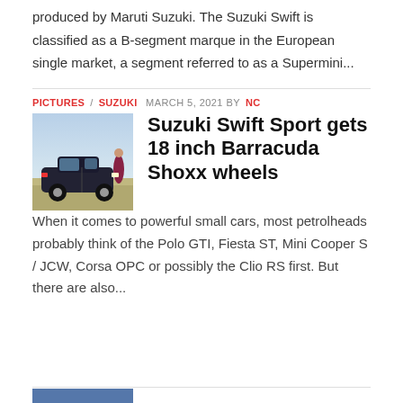produced by Maruti Suzuki. The Suzuki Swift is classified as a B-segment marque in the European single market, a segment referred to as a Supermini...
PICTURES / SUZUKI MARCH 5, 2021 BY NC
Suzuki Swift Sport gets 18 inch Barracuda Shoxx wheels
[Figure (photo): Photo of a dark Suzuki Swift Sport car with a person standing beside it on an open road]
When it comes to powerful small cars, most petrolheads probably think of the Polo GTI, Fiesta ST, Mini Cooper S / JCW, Corsa OPC or possibly the Clio RS first. But there are also...